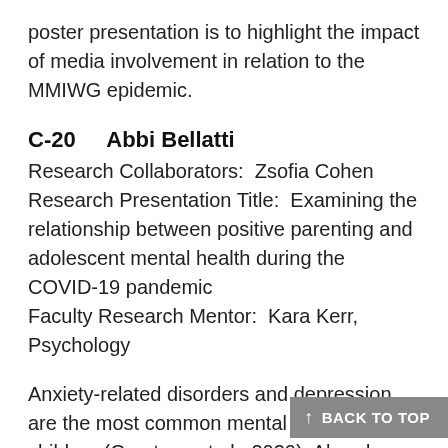poster presentation is to highlight the impact of media involvement in relation to the MMIWG epidemic.
C-20    Abbi Bellatti
Research Collaborators:  Zsofia Cohen
Research Presentation Title:  Examining the relationship between positive parenting and adolescent mental health during the COVID-19 pandemic
Faculty Research Mentor:  Kara Kerr, Psychology
Anxiety-related disorders and depression are the most common mental disorders in children (Courtney et al., 2020). Already, increasing symptoms of these disorders have been